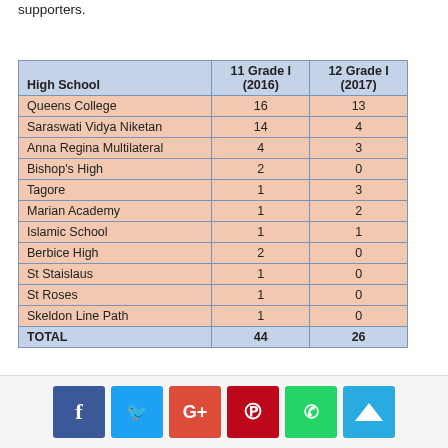supporters.
| High School | 11 Grade I (2016) | 12 Grade I (2017) |
| --- | --- | --- |
| Queens College | 16 | 13 |
| Saraswati Vidya Niketan | 14 | 4 |
| Anna Regina Multilateral | 4 | 3 |
| Bishop's High | 2 | 0 |
| Tagore | 1 | 3 |
| Marian Academy | 1 | 2 |
| Islamic School | 1 | 1 |
| Berbice High | 2 | 0 |
| St Staislaus | 1 | 0 |
| St Roses | 1 | 0 |
| Skeldon Line Path | 1 | 0 |
| TOTAL | 44 | 26 |
[Figure (infographic): Social media sharing bar with Facebook, Twitter, Google+, Pinterest, WhatsApp buttons and a scroll-to-top button]